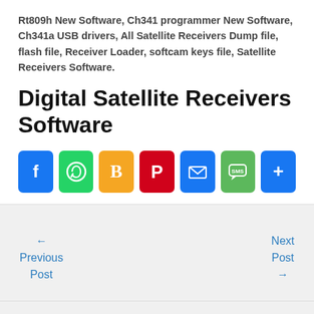Rt809h New Software, Ch341 programmer New Software, Ch341a USB drivers, All Satellite Receivers Dump file, flash file, Receiver Loader, softcam keys file, Satellite Receivers Software.
Digital Satellite Receivers Software
[Figure (infographic): Row of social sharing icons: Facebook (blue), WhatsApp (green), Blogger (orange), Pinterest (red), Email (blue), SMS (green), More/Share (blue)]
← Previous Post
Next Post →